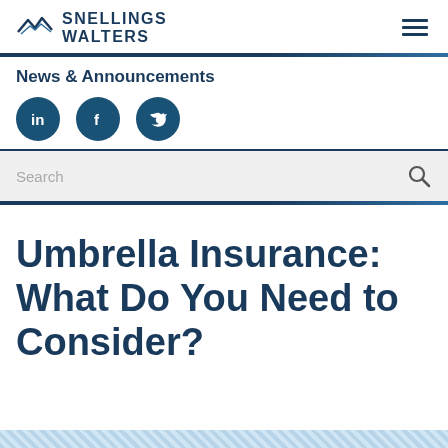SNELLINGS WALTERS
News & Announcements
[Figure (infographic): Three social media icons: LinkedIn, Facebook, Twitter, displayed as white icons on dark blue circular backgrounds]
[Figure (infographic): Search bar with placeholder text 'Search' and a magnifying glass icon on the right]
Umbrella Insurance: What Do You Need to Consider?